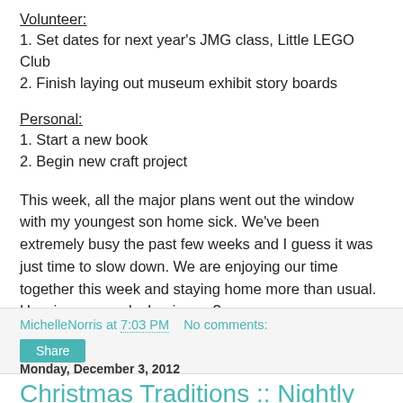Volunteer:
1. Set dates for next year's JMG class, Little LEGO Club
2. Finish laying out museum exhibit story boards
Personal:
1. Start a new book
2. Begin new craft project
This week, all the major plans went out the window with my youngest son home sick. We've been extremely busy the past few weeks and I guess it was just time to slow down. We are enjoying our time together this week and staying home more than usual. How is your week shaping up?
MichelleNorris at 7:03 PM   No comments:
Share
Monday, December 3, 2012
Christmas Traditions :: Nightly